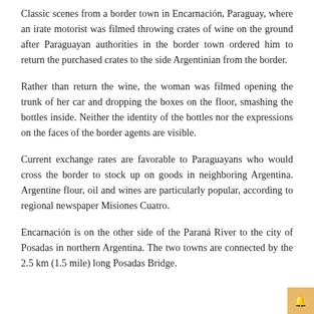Classic scenes from a border town in Encarnación, Paraguay, where an irate motorist was filmed throwing crates of wine on the ground after Paraguayan authorities in the border town ordered him to return the purchased crates to the side Argentinian from the border.
Rather than return the wine, the woman was filmed opening the trunk of her car and dropping the boxes on the floor, smashing the bottles inside. Neither the identity of the bottles nor the expressions on the faces of the border agents are visible.
Current exchange rates are favorable to Paraguayans who would cross the border to stock up on goods in neighboring Argentina. Argentine flour, oil and wines are particularly popular, according to regional newspaper Misiones Cuatro.
Encarnación is on the other side of the Paraná River to the city of Posadas in northern Argentina. The two towns are connected by the 2.5 km (1.5 mile) long Posadas Bridge.